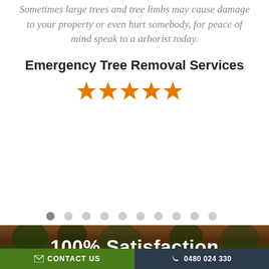Sometimes large trees and tree limbs may cause damage to your property or even hurt somebody, for peace of mind speak to a arborist today.
Emergency Tree Removal Services
[Figure (other): Five orange star rating icons]
[Figure (other): Carousel pagination dots, 10 dots with first active]
[Figure (photo): Forest background with dark trees and foliage]
100% Satisfaction
CONTACT US
0480 024 330